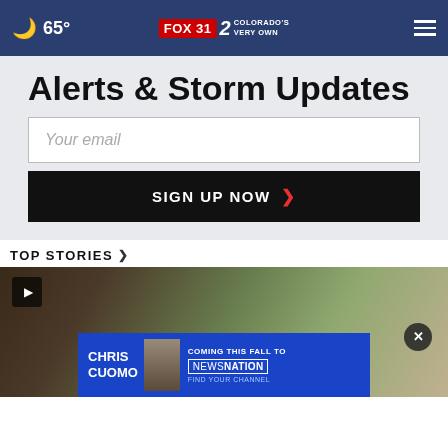65° FOX31 2 Colorado's Very Own
Alerts & Storm Updates
Your email
SIGN UP NOW ›
TOP STORIES ›
[Figure (photo): News broadcast screenshot with video player and Chris Cuomo NewsNation advertisement overlay]
CHRIS CUOMO COMING THIS FALL TO NEWSNATION FIND YOUR CHANNEL